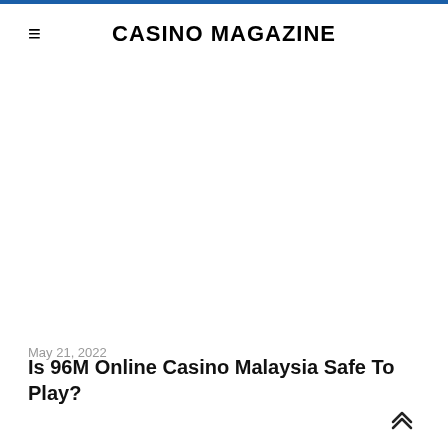CASINO MAGAZINE
May 21, 2022
Is 96M Online Casino Malaysia Safe To Play?